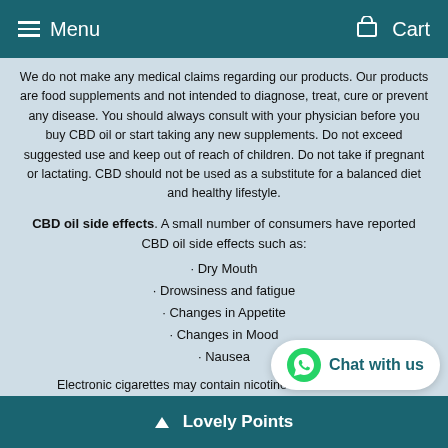Menu    Cart
We do not make any medical claims regarding our products. Our products are food supplements and not intended to diagnose, treat, cure or prevent any disease. You should always consult with your physician before you buy CBD oil or start taking any new supplements. Do not exceed suggested use and keep out of reach of children. Do not take if pregnant or lactating. CBD should not be used as a substitute for a balanced diet and healthy lifestyle.
CBD oil side effects. A small number of consumers have reported CBD oil side effects such as:
Dry Mouth
Drowsiness and fatigue
Changes in Appetite
Changes in Mood
Nausea
Electronic cigarettes may contain nicotine which is addictive. Electronic cigarettes are only for use by perso...
[Figure (other): WhatsApp Chat with us button widget]
Lovely Points